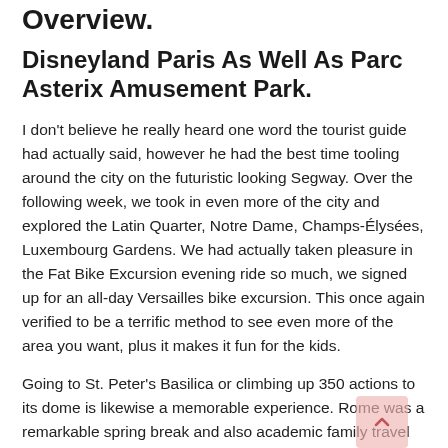Overview.
Disneyland Paris As Well As Parc Asterix Amusement Park.
I don't believe he really heard one word the tourist guide had actually said, however he had the best time tooling around the city on the futuristic looking Segway. Over the following week, we took in even more of the city and explored the Latin Quarter, Notre Dame, Champs-Élysées, Luxembourg Gardens. We had actually taken pleasure in the Fat Bike Excursion evening ride so much, we signed up for an all-day Versailles bike excursion. This once again verified to be a terrific method to see even more of the area you want, plus it makes it fun for the kids.
Going to St. Peter's Basilica or climbing up 350 actions to its dome is likewise a memorable experience. Rome was a remarkable spring break and also academic family travel destination. Read more about popular destinations in france here. There are lots of old Roman ruins to interest kids especially the impressive Colosseum. We